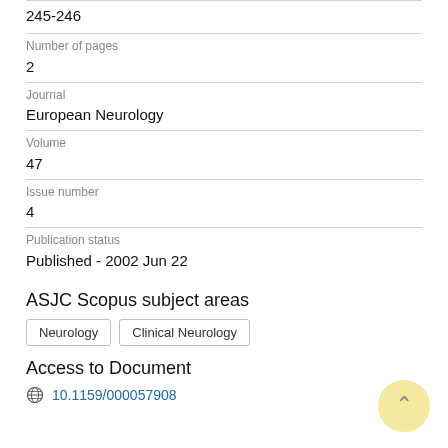245-246
Number of pages
2
Journal
European Neurology
Volume
47
Issue number
4
Publication status
Published - 2002 Jun 22
ASJC Scopus subject areas
Neurology
Clinical Neurology
Access to Document
10.1159/000057908